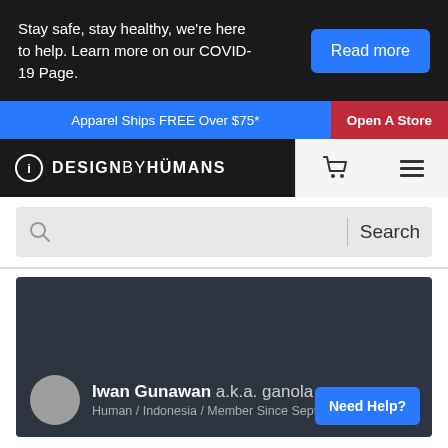Stay safe, stay healthy, we're here to help. Learn more on our COVID-19 Page.
Read more
Apparel Ships FREE Over $75*
Open A Store
[Figure (logo): Design By Humans logo with circular icon]
Search
[Figure (photo): User profile banner area, dark background]
Iwan Gunawan a.k.a. ganola
Human / Indonesia / Member Since September 2019
Need Help?